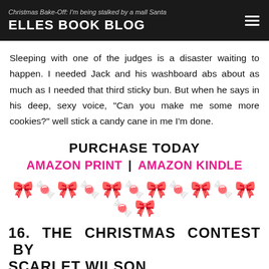Christmas Bake-Off: I'm being stalked by a mall Santa — ELLES BOOK BLOG
Sleeping with one of the judges is a disaster waiting to happen. I needed Jack and his washboard abs about as much as I needed that third sticky bun. But when he says in his deep, sexy voice, "Can you make me some more cookies?" well stick a candy cane in me I'm done.
PURCHASE TODAY
AMAZON PRINT | AMAZON KINDLE
[Figure (illustration): A row of candy cane and holly emoji decorations]
16. THE CHRISTMAS CONTEST BY SCARLET WILSON